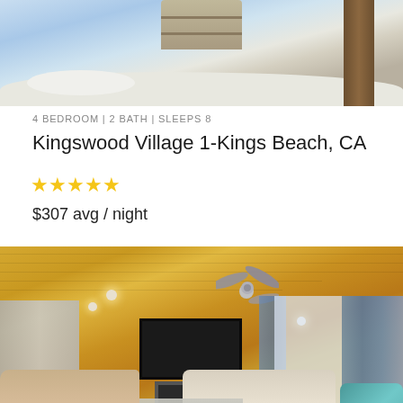[Figure (photo): Exterior photo of a snowy property with steps, a large tree trunk on the right, and snow-covered ground.]
4 BEDROOM | 2 BATH | SLEEPS 8
Kingswood Village 1-Kings Beach, CA
★★★★★
$307 avg / night
[Figure (photo): Interior living room photo showing wood plank ceiling, stone fireplace wall with mounted TV, ceiling fan, blue curtains, modern sofas, coffee table, and teal armchair.]